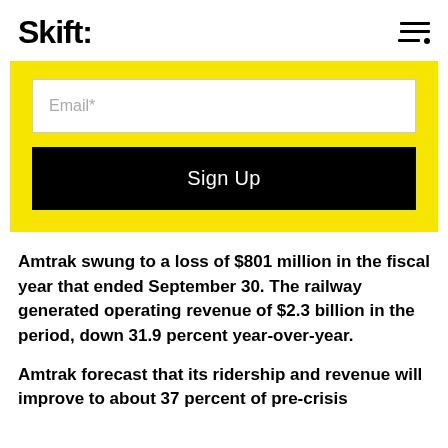Skift
[Figure (screenshot): Yellow signup box with email input field and black Sign Up button]
Amtrak swung to a loss of $801 million in the fiscal year that ended September 30. The railway generated operating revenue of $2.3 billion in the period, down 31.9 percent year-over-year.
Amtrak forecast that its ridership and revenue will improve to about 37 percent of pre-crisis